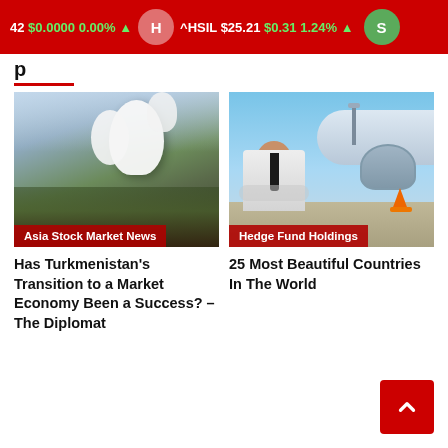42 $0.0000 0.00% ▲  H  ^HSIL $25.21 $0.31 1.24% ▲  S
[Figure (photo): Market/exhibition hall interior with crowd and white balloon sculpture, labeled 'Asia Stock Market News']
Asia Stock Market News
[Figure (photo): Pilot in uniform with sunglasses standing in front of airplane engine, labeled 'Hedge Fund Holdings']
Hedge Fund Holdings
Has Turkmenistan's Transition to a Market Economy Been a Success? – The Diplomat
25 Most Beautiful Countries In The World